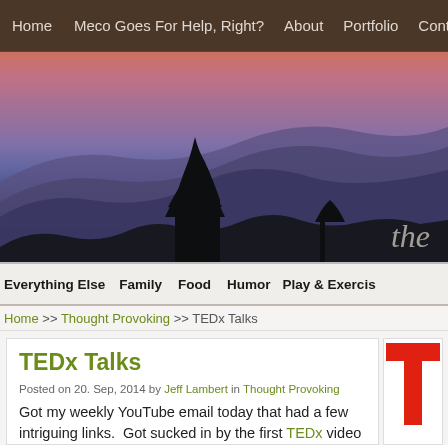Home | Meco Goes For Help, Right? | About | Portfolio | Contact Me | WO...
[Figure (photo): Panoramic sunset/dusk photo of layered mountain ridges with silhouetted trees and a purple-pink sky gradient. Italic text 'the' visible at bottom right corner.]
Everything Else | Family | Food | Humor | Play & Exercis...
Home >> Thought Provoking >> TEDx Talks
TEDx Talks
Posted on 20. Sep, 2014 by Jeff Lambert in Thought Provoking
Got my weekly YouTube email today that had a few intriguing links.  Got sucked in by the first TEDx video I watched.  But I now know that
[Figure (logo): Partial TED logo showing large red letter T]